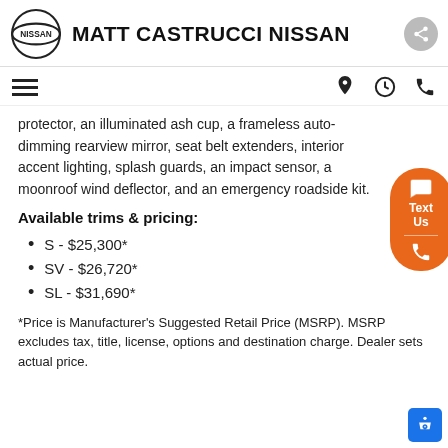MATT CASTRUCCI NISSAN
protector, an illuminated ash cup, a frameless auto-dimming rearview mirror, seat belt extenders, interior accent lighting, splash guards, an impact sensor, a moonroof wind deflector, and an emergency roadside kit.
Available trims & pricing:
S - $25,300*
SV - $26,720*
SL - $31,690*
*Price is Manufacturer's Suggested Retail Price (MSRP). MSRP excludes tax, title, license, options and destination charge. Dealer sets actual price.